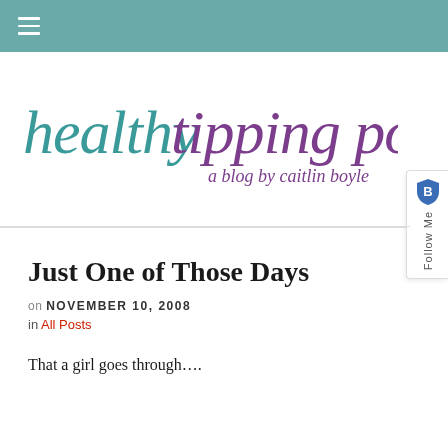≡
[Figure (logo): Healthy Tipping Point logo — cursive text reading 'healthy tipping point' with 'healthy' in teal and 'tipping point' in purple, subtitle 'a blog by caitlin boyle' in smaller purple cursive]
Just One of Those Days
on NOVEMBER 10, 2008
in All Posts
That a girl goes through….